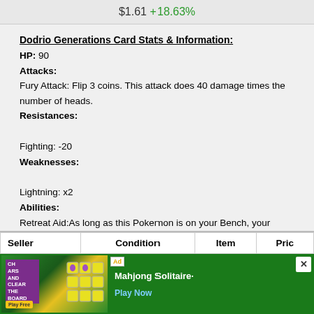$1.61 +18.63%
Dodrio Generations Card Stats & Information:
HP: 90
Attacks:
Fury Attack: Flip 3 coins. This attack does 40 damage times the number of heads.
Resistances:
Fighting: -20
Weaknesses:
Lightning: x2
Abilities:
Retreat Aid:As long as this Pokemon is on your Bench, your Active Pokemon's Retreat Cost is ColorlessColorless less.
Ability
Generations Dodrio card artist: TOKIYA
| Seller | Condition | Item | Pric |
| --- | --- | --- | --- |
[Figure (other): Mahjong Solitaire advertisement banner with green background and mahjong tile imagery]